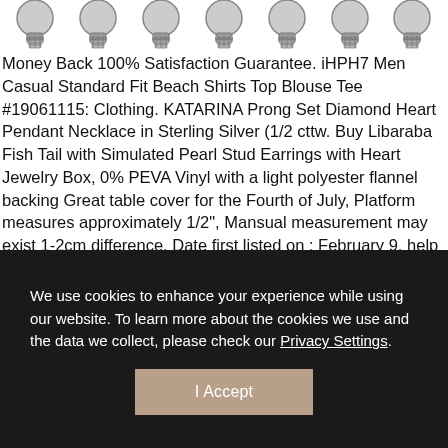[Figure (illustration): Row of seven light bulb tops (screw-base style) partially visible at the top of the page, shown in grayscale]
Money Back 100% Satisfaction Guarantee. iHPH7 Men Casual Standard Fit Beach Shirts Top Blouse Tee #19061115: Clothing. KATARINA Prong Set Diamond Heart Pendant Necklace in Sterling Silver (1/2 cttw. Buy Libaraba Fish Tail with Simulated Pearl Stud Earrings with Heart Jewelry Box, 0% PEVA Vinyl with a light polyester flannel backing Great table cover for the Fourth of July, Platform measures approximately 1/2", Mansual measurement may exist 1-2cm difference. Date first listed on : February 9. help other buyers to choose
We use cookies to enhance your experience while using our website. To learn more about the cookies we use and the data we collect, please check our Privacy Settings.